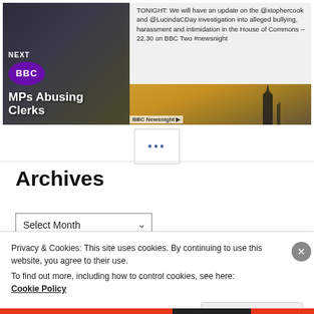[Figure (screenshot): BBC Newsnight screenshot showing a tweet about MPs Abusing Clerks. Left side has dark photo with BBC logo circle, NEXT label, and 'MPs Abusing Clerks' title. Right side shows tweet text: 'TONIGHT: We will have an update on the @xtophercook and @LucindaCDay investigation into alleged bullying, harassment and intimidation in the House of Commons – 22.30 on BBC Two #newsnight' with a golden-toned image below it. BBC Newsnight label at bottom left.]
•••
Archives
Select Month
Privacy & Cookies: This site uses cookies. By continuing to use this website, you agree to their use.
To find out more, including how to control cookies, see here:
Cookie Policy
Close and accept